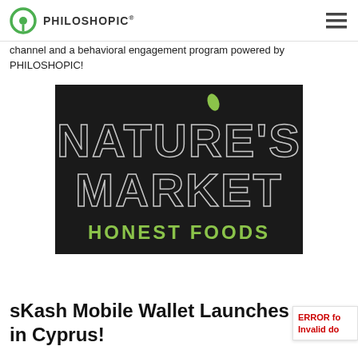PHILOSHOPIC®
channel and a behavioral engagement program powered by PHILOSHOPIC!
[Figure (logo): Nature's Market Honest Foods logo — black background with large silver/white stylized text reading NATURE'S MARKET and green text below reading HONEST FOODS, with a small green leaf accent above the apostrophe.]
sKash Mobile Wallet Launches in Cyprus!